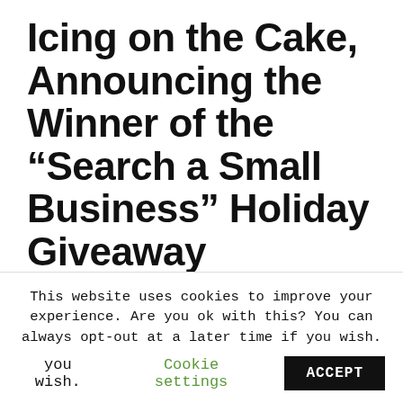Icing on the Cake, Announcing the Winner of the “Search a Small Business” Holiday Giveaway
December 15, 2009 By Glenn Gabe
[Figure (photo): Food photo showing colorful dish with greens]
Last week I
This website uses cookies to improve your experience. Are you ok with this? You can always opt-out at a later time if you wish. Cookie settings ACCEPT